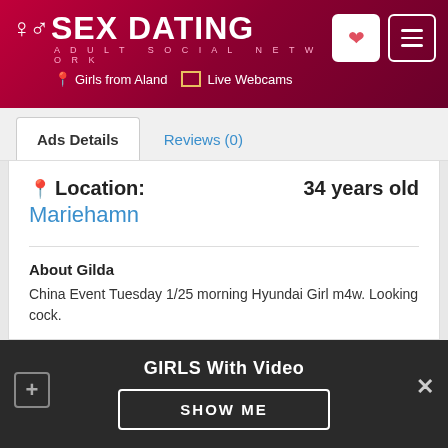SEX DATING ADULT SOCIAL NETWORK | Girls from Aland | Live Webcams
Ads Details | Reviews (0)
Location: 34 years old
Mariehamn
About Gilda
China Event Tuesday 1/25 morning Hyundai Girl m4w. Looking cock.

I offer companionship, and many other services, where a Shemale with the attributes, qualities and skills that you
GIRLS With Video
SHOW ME